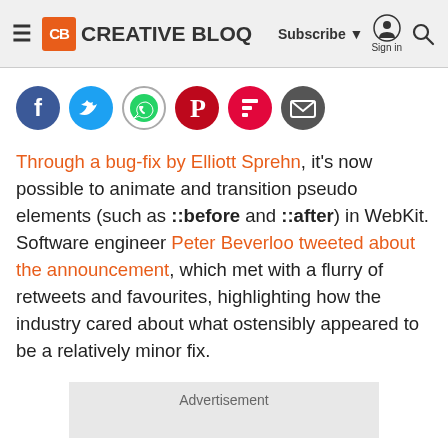CB CREATIVE BLOQ | Subscribe ▼ Sign in 🔍
[Figure (other): Social sharing icons: Facebook, Twitter, WhatsApp, Pinterest, Flipboard, Email]
Through a bug-fix by Elliott Sprehn, it's now possible to animate and transition pseudo elements (such as ::before and ::after) in WebKit. Software engineer Peter Beverloo tweeted about the announcement, which met with a flurry of retweets and favourites, highlighting how the industry cared about what ostensibly appeared to be a relatively minor fix.
Advertisement